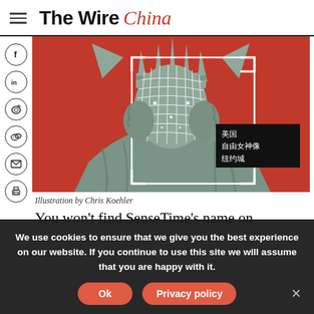The Wire China
[Figure (illustration): Illustration of the Statue of Liberty face with a facial recognition wireframe mesh overlay on a red background, with Chinese text labels (美国, 自由女神像, 纽约城) in a black box]
Illustration by Chris Koehler
You won't find SenseTime's name on the building. But the headquarters of China's biggest artificial intelligence company, located in Shanghai's Zhangjiang Hi-Tech Park, is guarded by face recognition. All workers must clear a security check by
We use cookies to ensure that we give you the best experience on our website. If you continue to use this site we will assume that you are happy with it.